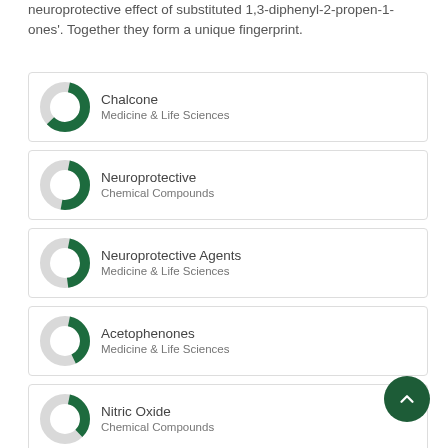neuroprotective effect of substituted 1,3-diphenyl-2-propen-1-ones'. Together they form a unique fingerprint.
Chalcone — Medicine & Life Sciences
Neuroprotective — Chemical Compounds
Neuroprotective Agents — Medicine & Life Sciences
Acetophenones — Medicine & Life Sciences
Nitric Oxide — Chemical Compounds
3-hydroxybutanal — Medicine & Life Sciences